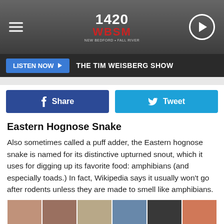1420 WBSM
LISTEN NOW   THE TIM WEISBERG SHOW
[Figure (other): Facebook Share button and Twitter Tweet button]
Eastern Hognose Snake
Also sometimes called a puff adder, the Eastern hognose snake is named for its distinctive upturned snout, which it uses for digging up its favorite food: amphibians (and especially toads.) In fact, Wikipedia says it usually won't go after rodents unless they are made to smell like amphibians.
[Figure (photo): Grid of celebrity/person photos arranged in rows]